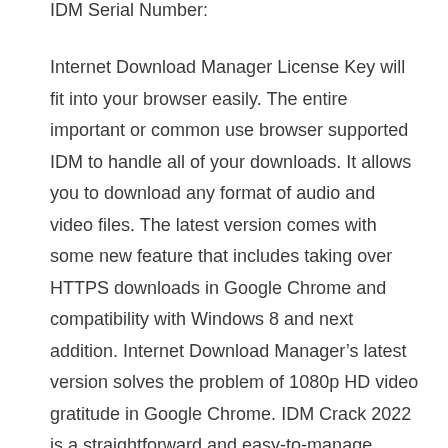IDM Serial Number:
Internet Download Manager License Key will fit into your browser easily. The entire important or common use browser supported IDM to handle all of your downloads. It allows you to download any format of audio and video files. The latest version comes with some new feature that includes taking over HTTPS downloads in Google Chrome and compatibility with Windows 8 and next addition. Internet Download Manager’s latest version solves the problem of 1080p HD video gratitude in Google Chrome. IDM Crack 2022 is a straightforward and easy-to-manage downloader. It has an excellent package of features and also better necessary software for downloads.